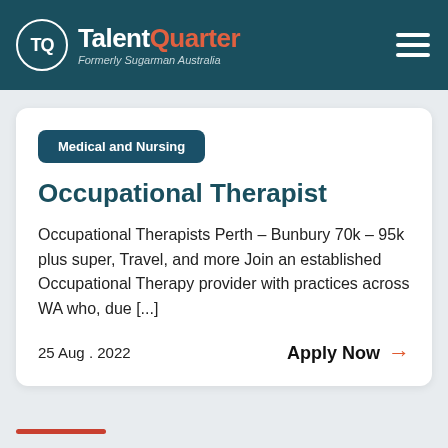TalentQuarter — Formerly Sugarman Australia
Medical and Nursing
Occupational Therapist
Occupational Therapists Perth – Bunbury 70k – 95k plus super, Travel, and more Join an established Occupational Therapy provider with practices across WA who, due [...]
25 Aug . 2022
Apply Now →